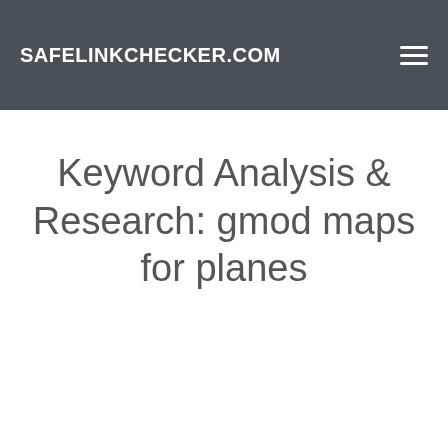SAFELINKCHECKER.COM
Keyword Analysis & Research: gmod maps for planes